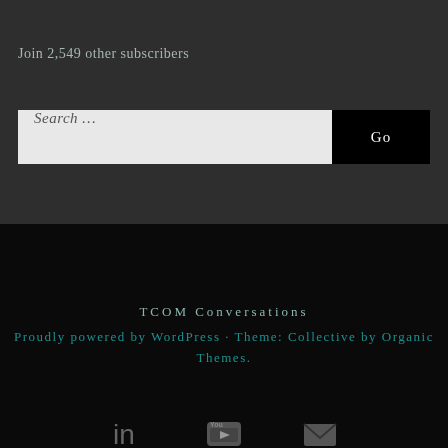Join 2,549 other subscribers
Search …
Go
TCOM Conversations
Proudly powered by WordPress · Theme: Collective by Organic Themes.
[Figure (other): Social media icons: LinkedIn, YouTube, Email envelope]